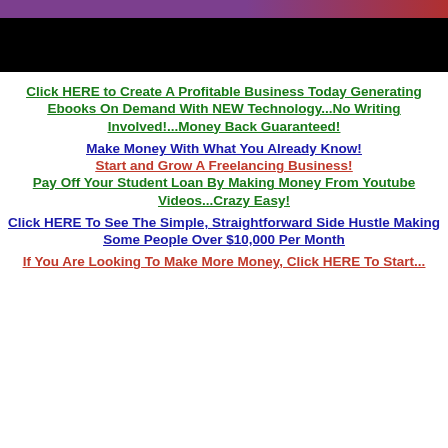[Figure (photo): Partial image at top of page showing a dark background with purple/red color bar at top edge, appears to be a cropped banner or promotional image]
Click HERE to Create A Profitable Business Today Generating Ebooks On Demand With NEW Technology...No Writing Involved!...Money Back Guaranteed!
Make Money With What You Already Know!
Start and Grow A Freelancing Business!
Pay Off Your Student Loan By Making Money From Youtube Videos...Crazy Easy!
Click HERE To See The Simple, Straightforward Side Hustle Making Some People Over $10,000 Per Month
If You Are Looking To Make More Money, Click HERE To Start...